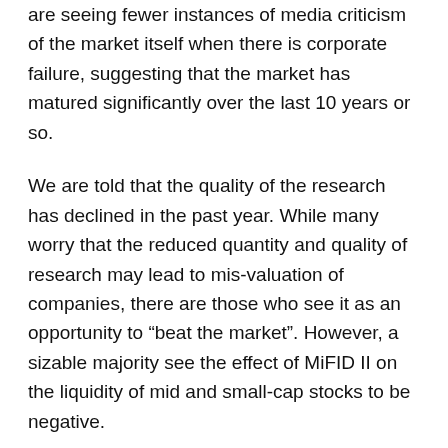are seeing fewer instances of media criticism of the market itself when there is corporate failure, suggesting that the market has matured significantly over the last 10 years or so.
We are told that the quality of the research has declined in the past year. While many worry that the reduced quantity and quality of research may lead to mis-valuation of companies, there are those who see it as an opportunity to “beat the market”. However, a sizable majority see the effect of MiFID II on the liquidity of mid and small-cap stocks to be negative.
We are told by many investors (46%) that the change in AIM Rule 26 (to require companies to adopt a recognised corporate governance code) will have a positive effect on the companies, and by extension the credibility of the market. Half of investors and two...